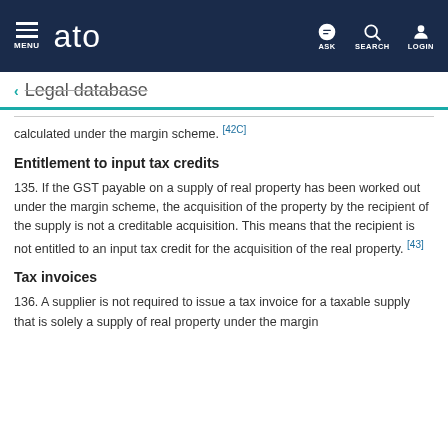MENU | ato | ASK | SEARCH | LOGIN
← Legal database
calculated under the margin scheme. [42C]
Entitlement to input tax credits
135. If the GST payable on a supply of real property has been worked out under the margin scheme, the acquisition of the property by the recipient of the supply is not a creditable acquisition. This means that the recipient is not entitled to an input tax credit for the acquisition of the real property. [43]
Tax invoices
136. A supplier is not required to issue a tax invoice for a taxable supply that is solely a supply of real property under the margin